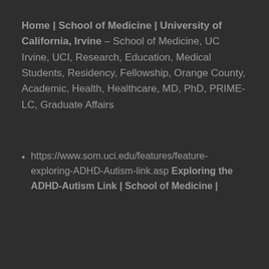Home | School of Medicine | University of California, Irvine – School of Medicine, UC Irvine, UCI, Research, Education, Medical Students, Residency, Fellowship, Orange County, Academic, Health, Healthcare, MD, PhD, PRIME-LC, Graduate Affairs
https://www.som.uci.edu/features/feature-exploring-ADHD-Autism-link.asp Exploring the ADHD-Autism Link | School of Medicine |